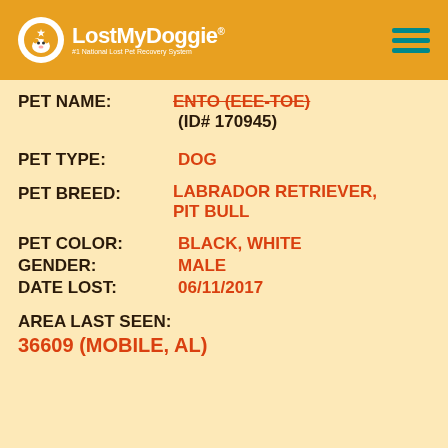LostMyDoggie #1 National Lost Pet Recovery System
PET NAME: ENTO (EEE-TOE) (ID# 170945)
PET TYPE: DOG
PET BREED: LABRADOR RETRIEVER, PIT BULL
PET COLOR: BLACK, WHITE
GENDER: MALE
DATE LOST: 06/11/2017
AREA LAST SEEN: 36609 (MOBILE, AL)